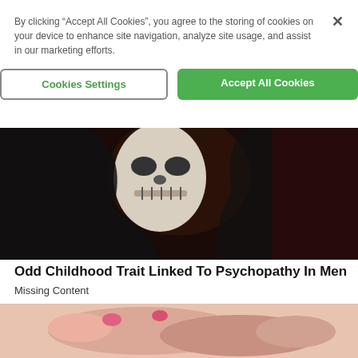By clicking “Accept All Cookies”, you agree to the storing of cookies on your device to enhance site navigation, analyze site usage, and assist in our marketing efforts.
Cookies Settings
Accept All Cookies
[Figure (photo): Person wearing dark hood and skull face paint, mouth area visible with white and grey makeup]
Odd Childhood Trait Linked To Psychopathy In Men
Missing Content
[Figure (photo): Close-up of hands with pink nail polish, skin tones visible]